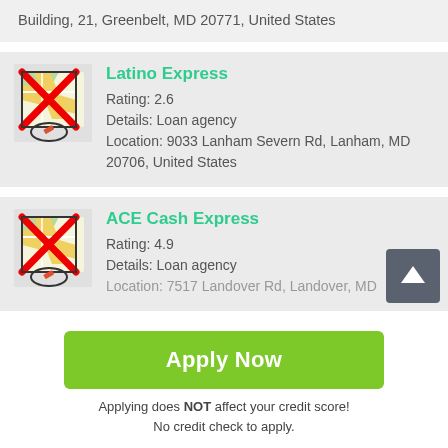Building, 21, Greenbelt, MD 20771, United States
Latino Express
Rating: 2.6
Details: Loan agency
Location: 9033 Lanham Severn Rd, Lanham, MD 20706, United States
ACE Cash Express
Rating: 4.9
Details: Loan agency
Location: 7517 Landover Rd, Landover, MD
Apply Now
Applying does NOT affect your credit score!
No credit check to apply.